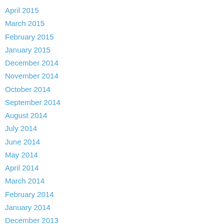April 2015
March 2015
February 2015
January 2015
December 2014
November 2014
October 2014
September 2014
August 2014
July 2014
June 2014
May 2014
April 2014
March 2014
February 2014
January 2014
December 2013
November 2013
October 2013
Categories